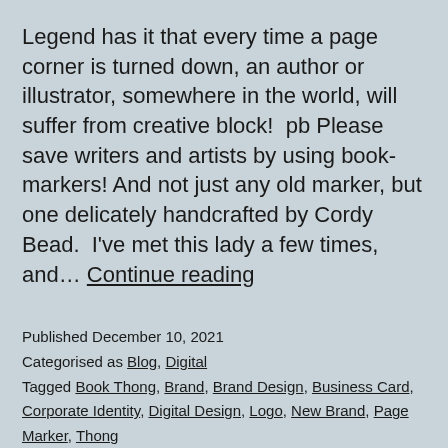Legend has it that every time a page corner is turned down, an author or illustrator, somewhere in the world, will suffer from creative block!  pb Please save writers and artists by using book-markers! And not just any old marker, but one delicately handcrafted by Cordy Bead.  I've met this lady a few times, and… Continue reading
Published December 10, 2021
Categorised as Blog, Digital
Tagged Book Thong, Brand, Brand Design, Business Card, Corporate Identity, Digital Design, Logo, New Brand, Page Marker, Thong